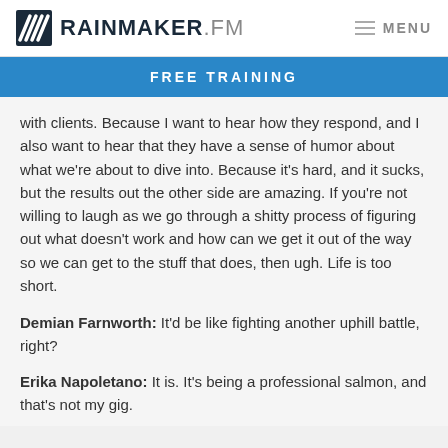RAINMAKER.FM   MENU
FREE TRAINING
with clients. Because I want to hear how they respond, and I also want to hear that they have a sense of humor about what we’re about to dive into. Because it’s hard, and it sucks, but the results out the other side are amazing. If you’re not willing to laugh as we go through a shitty process of figuring out what doesn’t work and how can we get it out of the way so we can get to the stuff that does, then ugh. Life is too short.
Demian Farnworth: It’d be like fighting another uphill battle, right?
Erika Napoletano: It is. It’s being a professional salmon, and that’s not my gig.